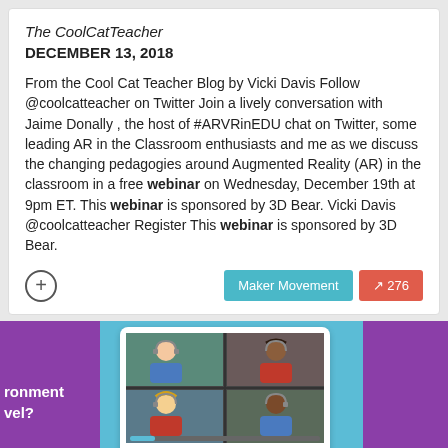The CoolCatTeacher
DECEMBER 13, 2018
From the Cool Cat Teacher Blog by Vicki Davis Follow @coolcatteacher on Twitter Join a lively conversation with Jaime Donally , the host of #ARVRinEDU chat on Twitter, some leading AR in the Classroom enthusiasts and me as we discuss the changing pedagogies around Augmented Reality (AR) in the classroom in a free webinar on Wednesday, December 19th at 9pm ET. This webinar is sponsored by 3D Bear. Vicki Davis @coolcatteacher Register This webinar is sponsored by 3D Bear.
[Figure (screenshot): A screenshot/promotional image showing a computer monitor with a video conference grid of 4 student avatars, set against a purple and light blue background with partial text 'ronment vel?' on the left and 'Chec' on the right]